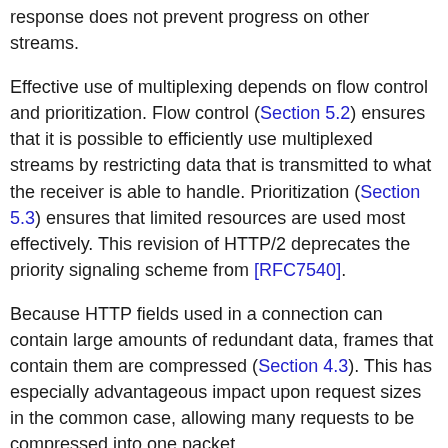response does not prevent progress on other streams.
Effective use of multiplexing depends on flow control and prioritization. Flow control (Section 5.2) ensures that it is possible to efficiently use multiplexed streams by restricting data that is transmitted to what the receiver is able to handle. Prioritization (Section 5.3) ensures that limited resources are used most effectively. This revision of HTTP/2 deprecates the priority signaling scheme from [RFC7540].
Because HTTP fields used in a connection can contain large amounts of redundant data, frames that contain them are compressed (Section 4.3). This has especially advantageous impact upon request sizes in the common case, allowing many requests to be compressed into one packet.
Finally, HTTP/2 adds a new, optional interaction mode whereby a server can push responses to a client